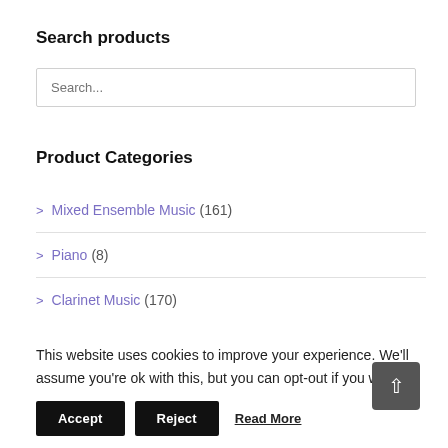Search products
Search...
Product Categories
> Mixed Ensemble Music (161)
> Piano (8)
> Clarinet Music (170)
This website uses cookies to improve your experience. We'll assume you're ok with this, but you can opt-out if you wish.
Accept   Reject   Read More